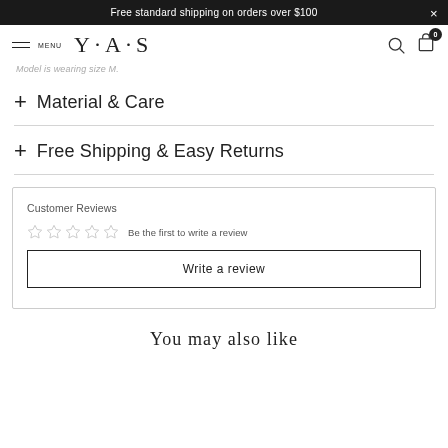Free standard shipping on orders over $100
MENU  Y·A·S
Model is wearing size M.
+ Material & Care
+ Free Shipping & Easy Returns
Customer Reviews
☆☆☆☆☆ Be the first to write a review
Write a review
You may also like